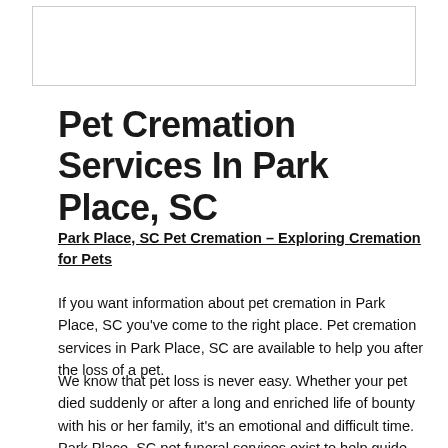[Figure (other): Placeholder image box at top of page]
Pet Cremation Services In Park Place, SC
Park Place, SC Pet Cremation – Exploring Cremation for Pets
If you want information about pet cremation in Park Place, SC you've come to the right place. Pet cremation services in Park Place, SC are available to help you after the loss of a pet.
We know that pet loss is never easy. Whether your pet died suddenly or after a long and enriched life of bounty with his or her family, it's an emotional and difficult time. Park Place, SC pet funeral services exist to help guide you through your